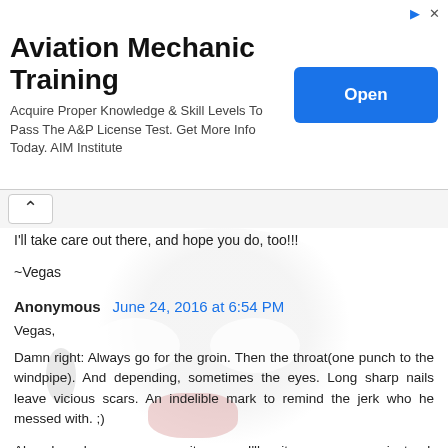[Figure (other): Advertisement banner for Aviation Mechanic Training with an 'Open' button]
I'll take care out there, and hope you do, too!!!
~Vegas
Anonymous  June 24, 2016 at 6:54 PM
Vegas,
Damn right: Always go for the groin. Then the throat(one punch to the windpipe). And depending, sometimes the eyes. Long sharp nails leave vicious scars. An indelible mark to remind the jerk who he messed with. ;)
Alas, I no longer own a guitar . . . I'll write you a poem instead, sometime in the near future, and you can read it aloud while listening to your